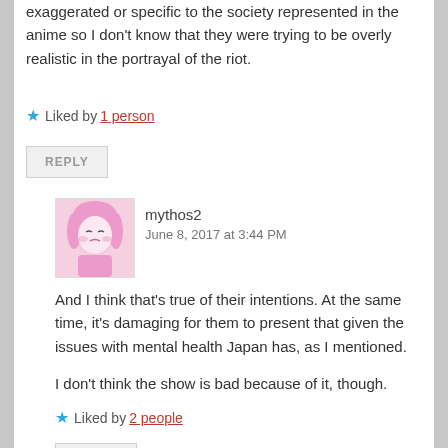exaggerated or specific to the society represented in the anime so I don't know that they were trying to be overly realistic in the portrayal of the riot.
★ Liked by 1 person
REPLY
mythos2
June 8, 2017 at 3:44 PM
And I think that's true of their intentions. At the same time, it's damaging for them to present that given the issues with mental health Japan has, as I mentioned.
I don't think the show is bad because of it, though.
★ Liked by 2 people
REPLY